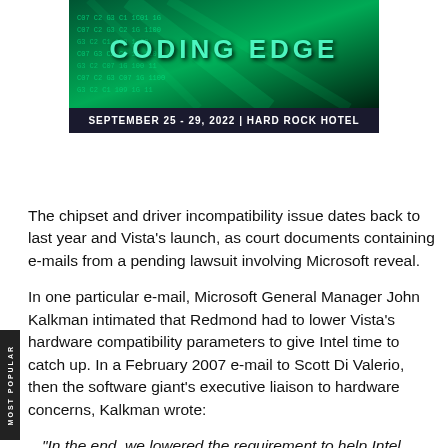[Figure (illustration): Coding Edge conference banner with dark green digital/matrix background, title 'CODING EDGE' in teal letters, and a date bar reading 'SEPTEMBER 25 - 29, 2022 | HARD ROCK HOTEL']
The chipset and driver incompatibility issue dates back to last year and Vista's launch, as court documents containing e-mails from a pending lawsuit involving Microsoft reveal.
In one particular e-mail, Microsoft General Manager John Kalkman intimated that Redmond had to lower Vista's hardware compatibility parameters to give Intel time to catch up. In a February 2007 e-mail to Scott Di Valerio, then the software giant's executive liaison to hardware concerns, Kalkman wrote:
"In the end, we lowered the requirement to help Intel make their quarterly earnings so they could